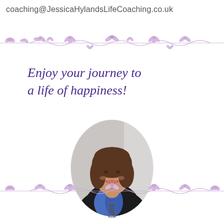coaching@JessicaHylandsLifeCoaching.co.uk
[Figure (illustration): Decorative floral vine divider in muted purple/lavender, top of page]
Enjoy your journey to a life of happiness!
[Figure (photo): Oval portrait photo of a smiling woman with brown hair, wearing a black jacket and blue scarf, against a light background]
[Figure (illustration): Decorative floral vine divider in muted purple/lavender, bottom of page]
[Figure (logo): Small logo mark at bottom center of page]